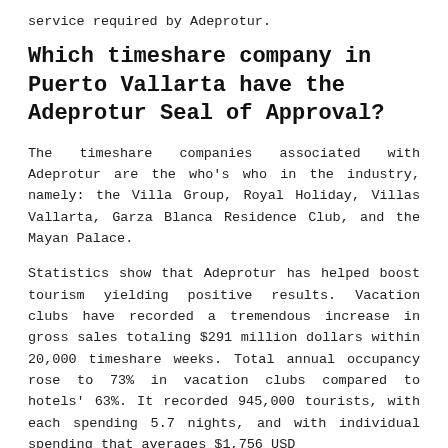service required by Adeprotur.
Which timeshare company in Puerto Vallarta have the Adeprotur Seal of Approval?
The timeshare companies associated with Adeprotur are the who's who in the industry, namely: the Villa Group, Royal Holiday, Villas Vallarta, Garza Blanca Residence Club, and the Mayan Palace.
Statistics show that Adeprotur has helped boost tourism yielding positive results. Vacation clubs have recorded a tremendous increase in gross sales totaling $291 million dollars within 20,000 timeshare weeks. Total annual occupancy rose to 73% in vacation clubs compared to hotels' 63%. It recorded 945,000 tourists, with each spending 5.7 nights, and with individual spending that averages $1,756 USD